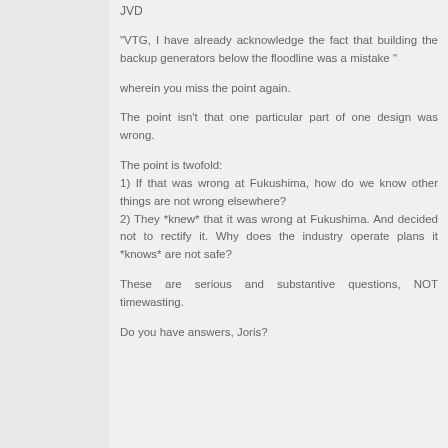JVD
"VTG, I have already acknowledge the fact that building the backup generators below the floodline was a mistake "
wherein you miss the point again.
The point isn't that one particular part of one design was wrong.
The point is twofold:
1) If that was wrong at Fukushima, how do we know other things are not wrong elsewhere?
2) They *knew* that it was wrong at Fukushima. And decided not to rectify it. Why does the industry operate plans it *knows* are not safe?
These are serious and substantive questions, NOT timewasting.
Do you have answers, Joris?